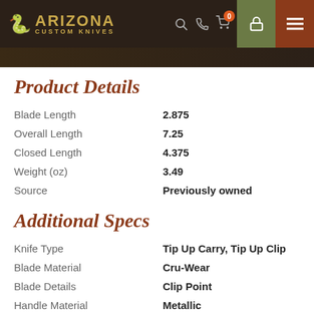[Figure (logo): Arizona Custom Knives logo with snake icon on dark brown header background]
Product Details
| Blade Length | 2.875 |
| Overall Length | 7.25 |
| Closed Length | 4.375 |
| Weight (oz) | 3.49 |
| Source | Previously owned |
Additional Specs
| Knife Type | Tip Up Carry, Tip Up Clip |
| Blade Material | Cru-Wear |
| Blade Details | Clip Point |
| Handle Material | Metallic |